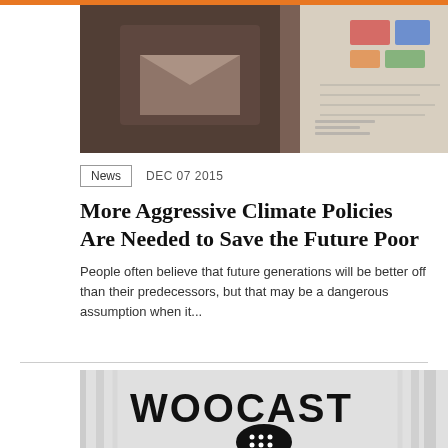[Figure (photo): A person handling documents or papers on a desk, with maps or charts visible in the upper right]
News  DEC 07 2015
More Aggressive Climate Policies Are Needed to Save the Future Poor
People often believe that future generations will be better off than their predecessors, but that may be a dangerous assumption when it...
[Figure (photo): A banner or sign reading WOOCAST with a microphone icon below it]